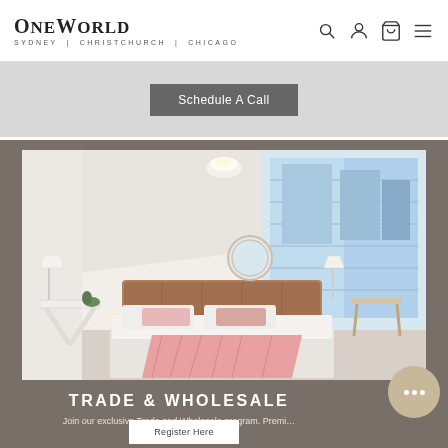One World — SYDNEY | CHRISTCHURCH | CHICAGO
Schedule A Call
[Figure (photo): Styled bedroom with white walls, a double bed with pink accent pillows and throw, wooden headboard, white side tables with lamps, a round mirror, and large sliding glass doors opening to a balcony with a city view.]
TRADE & WHOLESALE
Join our exclusive Trade and Wholesale program. Premi… discounts & easy access.
Register Here